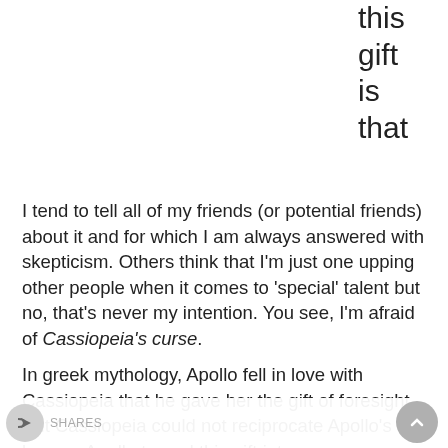this gift is that I tend to tell all of my friends (or potential friends) about it and for which I am always answered with skepticism. Others think that I'm just one upping other people when it comes to 'special' talent but no, that's never my intention. You see, I'm afraid of Cassiopeia's curse.
In greek mythology, Apollo fell in love with Cassiopeia that he gave her the gift of foresight. But Cassiopeia could not reciprocate Apollo's love so Apollo turned this gift into a curse-- Cassiopeia will still have this gift of foresight but no one will believe her. When she had foreseen the greeks hiding in this gift to Troy, a big horse where they'd attack Troy while the city sleeps, told the Trojans about it but instead of being
SHARES